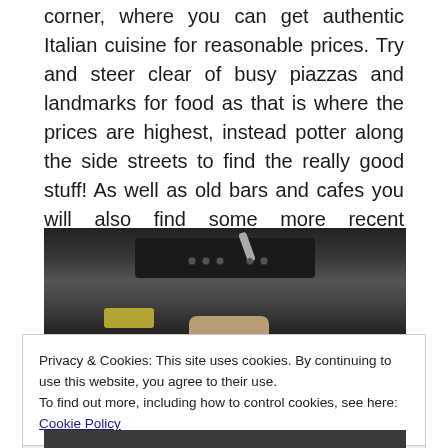corner, where you can get authentic Italian cuisine for reasonable prices. Try and steer clear of busy piazzas and landmarks for food as that is where the prices are highest, instead potter along the side streets to find the really good stuff! As well as old bars and cafes you will also find some more recent additions to Rome including the Magnum shop where you can design your own ice cream with different chocolates and toppings!
[Figure (photo): A dark kitchen counter or bar area with a sink, faucet, and decorative dots visible. Hands holding something with yellow and peach-colored items visible at the bottom.]
Privacy & Cookies: This site uses cookies. By continuing to use this website, you agree to their use.
To find out more, including how to control cookies, see here: Cookie Policy
Close and accept
[Figure (photo): Partially visible photo at the bottom of the page.]